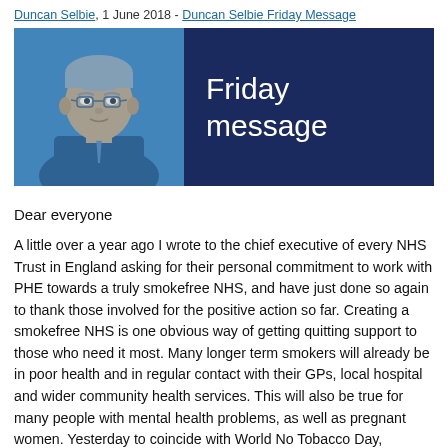Duncan Selbie, 1 June 2018 - Duncan Selbie Friday Message
[Figure (photo): Banner image with a blue-tinted photo of Duncan Selbie on the left and a dark navy blue panel on the right with text 'Friday message' in white.]
Dear everyone
A little over a year ago I wrote to the chief executive of every NHS Trust in England asking for their personal commitment to work with PHE towards a truly smokefree NHS, and have just done so again to thank those involved for the positive action so far. Creating a smokefree NHS is one obvious way of getting quitting support to those who need it most. Many longer term smokers will already be in poor health and in regular contact with their GPs, local hospital and wider community health services. This will also be true for many people with mental health problems, as well as pregnant women. Yesterday to coincide with World No Tobacco Day,